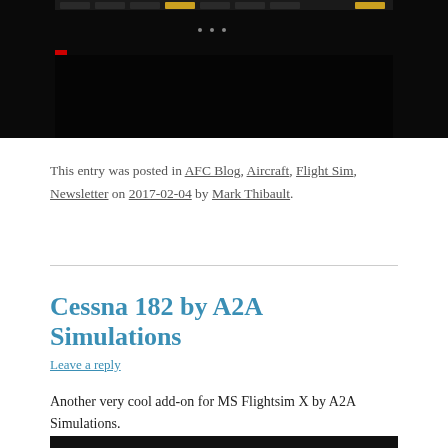[Figure (screenshot): Dark screenshot of a flight simulator cockpit instrument panel with navigation buttons and dots visible]
This entry was posted in AFC Blog, Aircraft, Flight Sim, Newsletter on 2017-02-04 by Mark Thibault.
Cessna 182 by A2A Simulations
Leave a reply
Another very cool add-on for MS Flightsim X by A2A Simulations.